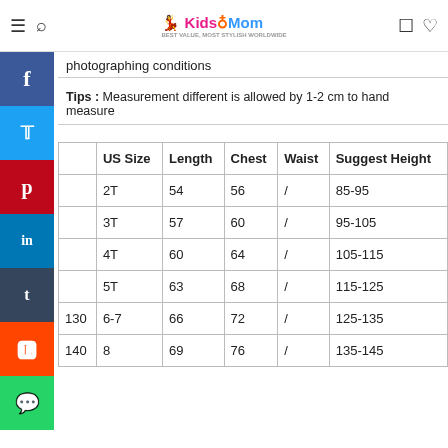Kids & Mom — navigation bar with logo, hamburger, search, cart, wishlist icons
photographing conditions
Tips : Measurement different is allowed by 1-2 cm to hand measure
|  | US Size | Length | Chest | Waist | Suggest Height |
| --- | --- | --- | --- | --- | --- |
|  | 2T | 54 | 56 | / | 85-95 |
|  | 3T | 57 | 60 | / | 95-105 |
|  | 4T | 60 | 64 | / | 105-115 |
|  | 5T | 63 | 68 | / | 115-125 |
| 130 | 6-7 | 66 | 72 | / | 125-135 |
| 140 | 8 | 69 | 76 | / | 135-145 |